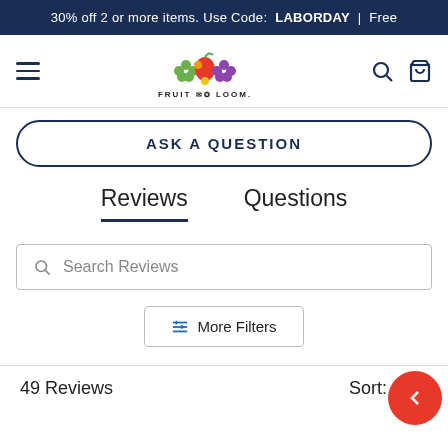30% off 2 or more items. Use Code:  LABORDAY | Free
[Figure (logo): Fruit of the Loom logo with colorful fruit graphic above brand name]
ASK A QUESTION
Reviews	Questions
Search Reviews
More Filters
49 Reviews
Sort: Sele